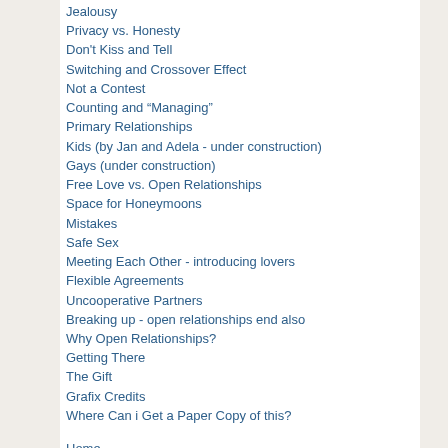Jealousy
Privacy vs. Honesty
Don't Kiss and Tell
Switching and Crossover Effect
Not a Contest
Counting and “Managing”
Primary Relationships
Kids (by Jan and Adela - under construction)
Gays (under construction)
Free Love vs. Open Relationships
Space for Honeymoons
Mistakes
Safe Sex
Meeting Each Other - introducing lovers
Flexible Agreements
Uncooperative Partners
Breaking up - open relationships end also
Why Open Relationships?
Getting There
The Gift
Grafix Credits
Where Can i Get a Paper Copy of this?
Home
Thanx